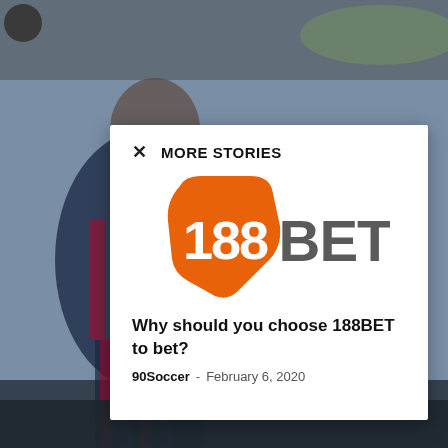[Figure (photo): Background photo of a soccer player in a dark uniform, blurred/bokeh stadium background. A small dark circle (avatar) appears in the top-left corner.]
MORE STORIES
[Figure (logo): 188BET logo — orange shield/hexagon shape containing white '188' text, next to dark grey 'BET' text]
Why should you choose 188BET to bet?
90Soccer - February 6, 2020